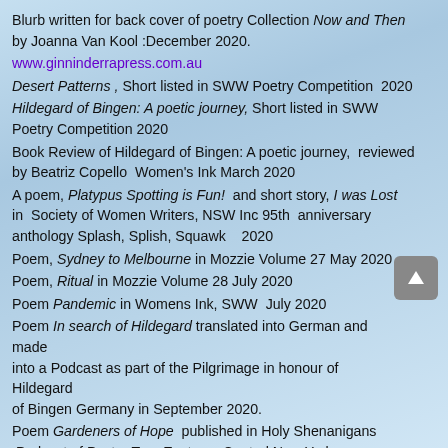Blurb written for back cover of poetry Collection Now and Then by Joanna Van Kool :December 2020.
www.ginninderrapress.com.au
Desert Patterns , Short listed in SWW Poetry Competition 2020
Hildegard of Bingen: A poetic journey, Short listed in SWW Poetry Competition 2020
Book Review of Hildegard of Bingen: A poetic journey, reviewed by Beatriz Copello Women's Ink March 2020
A poem, Platypus Spotting is Fun! and short story, I was Lost in Society of Women Writers, NSW Inc 95th anniversary anthology Splash, Splish, Squawk 2020
Poem, Sydney to Melbourne in Mozzie Volume 27 May 2020
Poem, Ritual in Mozzie Volume 28 July 2020
Poem Pandemic in Womens Ink, SWW July 2020
Poem In search of Hildegard translated into German and made into a Podcast as part of the Pilgrimage in honour of Hildegard of Bingen Germany in September 2020.
Poem Gardeners of Hope published in Holy Shenanigans Podcast of Pastor Tara Eastman Central New York
Mists of Time co-edited with Decima Wraxall. Ginninderra Press